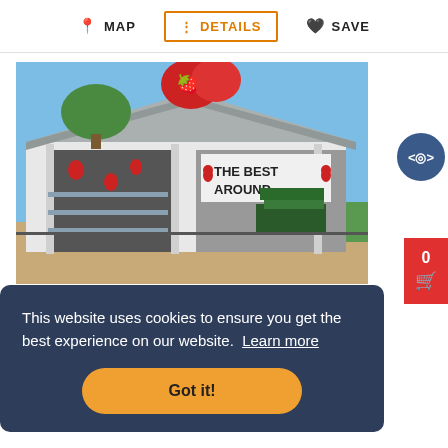MAP   DETAILS   SAVE
[Figure (photo): A roadside strawberry stand with a white structure, decorated with painted strawberries and a sign reading 'THE BEST AROUND'. Blue sky and trees in background.]
This website uses cookies to ensure you get the best experience on our website. Learn more
Got it!